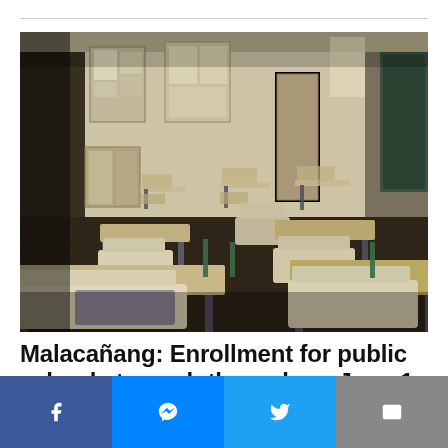[Figure (photo): Empty classroom with rows of student desks and chairs, beige walls with bulletin boards and posters, a chalkboard visible at the right edge. Desaturated, moody tone.]
Malacañang: Enrollment for public schools to push through on June 1